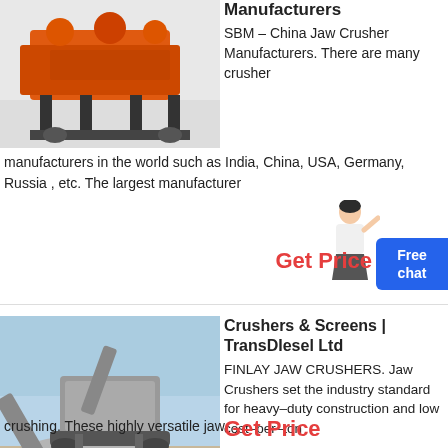[Figure (photo): Orange jaw crusher machine on a black frame, industrial equipment photo]
Manufacturers
SBM – China Jaw Crusher Manufacturers. There are many crusher manufacturers in the world such as India, China, USA, Germany, Russia , etc. The largest manufacturer
[Figure (photo): Large industrial mobile crushing and screening plant with conveyor belts, outdoors with blue sky]
Crushers & Screens | TransDIesel Ltd
FINLAY JAW CRUSHERS. Jaw Crushers set the industry standard for heavy–duty construction and low cost–per–ton crushing. These highly versatile jaw